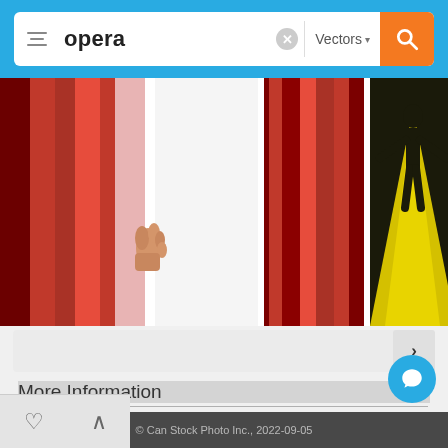[Figure (screenshot): Search bar with filter icon, text 'opera', clear button, Vectors dropdown, and orange search button on blue background]
[Figure (photo): Three stock photo thumbnails: red theater curtain with hand pulling it open, red curtain panel, and black background with yellow spotlight silhouette of performer]
[Figure (screenshot): Pagination bar with next arrow button]
More Information
License Agreement
About Can Stock Photo
Privacy
Sell Your Images / Clips
Terms & Conditions
Contact Us
© Can Stock Photo Inc., 2022-09-05